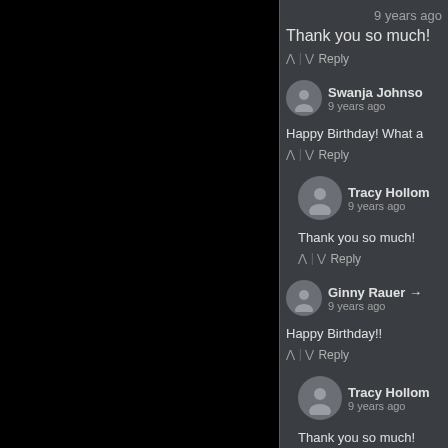9 years ago
Thank you so much!
^ | v Reply
Swanja Johnson
9 years ago
Happy Birthday! What a
^ | v Reply
Tracy Hollom
9 years ago
Thank you so much!
^ | v Reply
Ginny Rauer →
9 years ago
Happy Birthday!!
^ | v Reply
Tracy Hollom
9 years ago
Thank you so much!